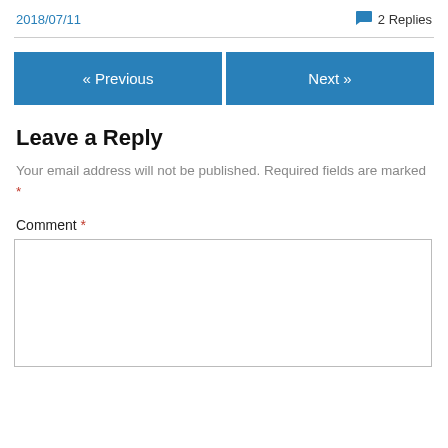2018/07/11    💬 2 Replies
« Previous   Next »
Leave a Reply
Your email address will not be published. Required fields are marked *
Comment *